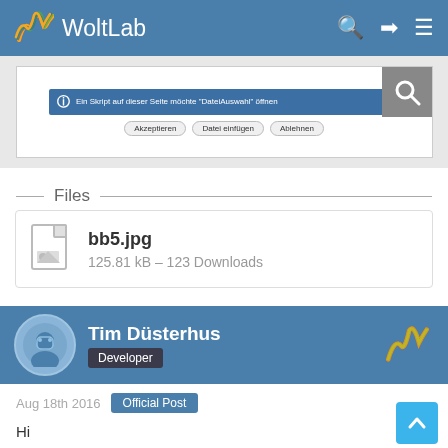WoltLab
[Figure (screenshot): Browser dialog screenshot with a notification bar and three buttons]
Files
bb5.jpg
125.81 kB – 123 Downloads
Tim Düsterhus
Developer
Aug 18th 2016  Official Post
Hi
what's your screen resolution?